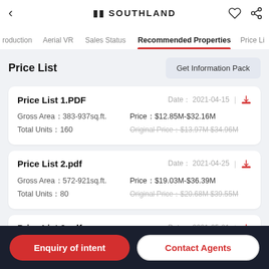SOUTHLAND
Recommended Properties
Price List
Get Information Pack
Price List 1.PDF — Date: 2021-04-15 — Gross Area: 383-937sq.ft. — Total Units: 160 — Price: $12.85M-$32.16M — Original Price: $13.97M $34.96M
Price List 2.pdf — Date: 2021-04-25 — Gross Area: 572-921sq.ft. — Total Units: 80 — Price: $19.03M-$36.39M — Original Price: $20.68M $39.55M
Price List 3.pdf — Date: 2021-05-01
Enquiry of intent
Contact Agents